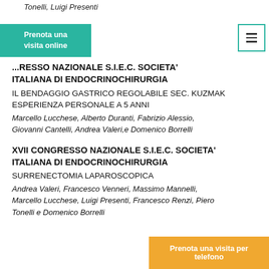Tonelli, Luigi Presenti
Prenota una visita online
[Figure (other): Hamburger menu icon button with teal border]
...RESSO NAZIONALE S.I.E.C. SOCIETA' ITALIANA DI ENDOCRINOCHIRURGIA
IL BENDAGGIO GASTRICO REGOLABILE SEC. KUZMAK ESPERIENZA PERSONALE A 5 ANNI
Marcello Lucchese, Alberto Duranti, Fabrizio Alessio, Giovanni Cantelli, Andrea Valeri,e Domenico Borrelli
XVII CONGRESSO NAZIONALE S.I.E.C. SOCIETA' ITALIANA DI ENDOCRINOCHIRURGIA
SURRENECTOMIA LAPAROSCOPICA
Andrea Valeri, Francesco Venneri, Massimo Mannelli, Marcello Lucchese, Luigi Presenti, Francesco Renzi, Piero Tonelli e Domenico Borrelli
Prenota una visita per telefono